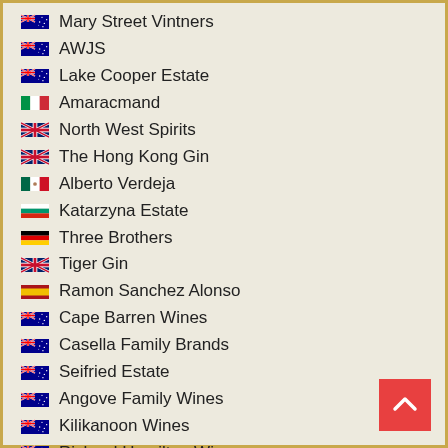Mary Street Vintners
AWJS
Lake Cooper Estate
Amaracmand
North West Spirits
The Hong Kong Gin
Alberto Verdeja
Katarzyna Estate
Three Brothers
Tiger Gin
Ramon Sanchez Alonso
Cape Barren Wines
Casella Family Brands
Seifried Estate
Angove Family Wines
Kilikanoon Wines
Richard Hamilton Wines
Forester Estate
Lake Breeze
Scarpantoni Wines